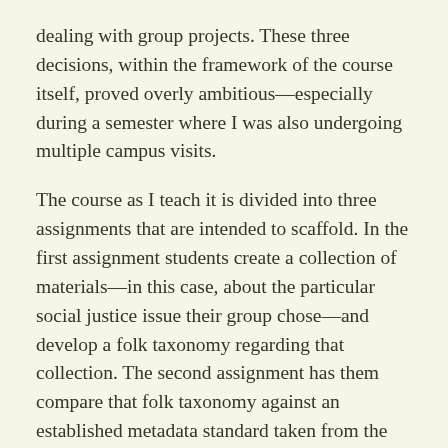dealing with group projects. These three decisions, within the framework of the course itself, proved overly ambitious—especially during a semester where I was also undergoing multiple campus visits.

The course as I teach it is divided into three assignments that are intended to scaffold. In the first assignment students create a collection of materials—in this case, about the particular social justice issue their group chose—and develop a folk taxonomy regarding that collection. The second assignment has them compare that folk taxonomy against an established metadata standard taken from the Getty museum's Metadata Standards Crosswalk. The final assignment has them present on their collection using the organizational